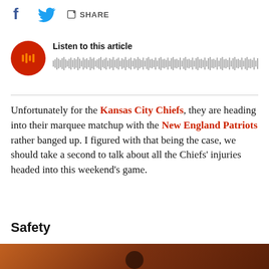[Figure (infographic): Social sharing bar with Facebook icon, Twitter bird icon, and Share button with arrow icon]
[Figure (infographic): Audio player widget with red circular play button and waveform visualization, titled 'Listen to this article']
Unfortunately for the Kansas City Chiefs, they are heading into their marquee matchup with the New England Patriots rather banged up. I figured with that being the case, we should take a second to talk about all the Chiefs' injuries headed into this weekend's game.
Safety
[Figure (photo): Partial photo at bottom of page showing blurred orange/red background, bottom portion cut off]